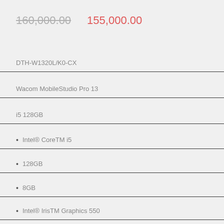160,000.00  155,000.00
DTH-W1320L/K0-CX
Wacom MobileStudio Pro 13
i5 128GB
Intel® CoreTM i5
128GB
8GB
Intel® IrisTM Graphics 550
Made for sketching and illustration, graphic design and image editing.